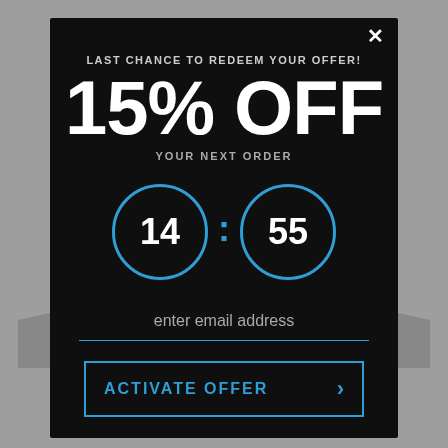LAST CHANCE TO REDEEM YOUR OFFER!
15% OFF
YOUR NEXT ORDER
[Figure (infographic): Countdown timer showing 14:55 with two circles outlined in blue]
enter email address
ACTIVATE OFFER >